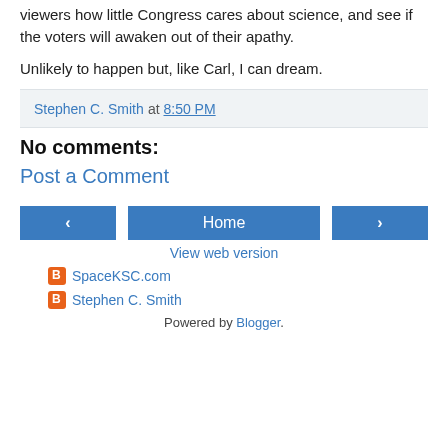viewers how little Congress cares about science, and see if the voters will awaken out of their apathy.
Unlikely to happen but, like Carl, I can dream.
Stephen C. Smith at 8:50 PM
No comments:
Post a Comment
‹  Home  ›  View web version
SpaceKSC.com
Stephen C. Smith
Powered by Blogger.